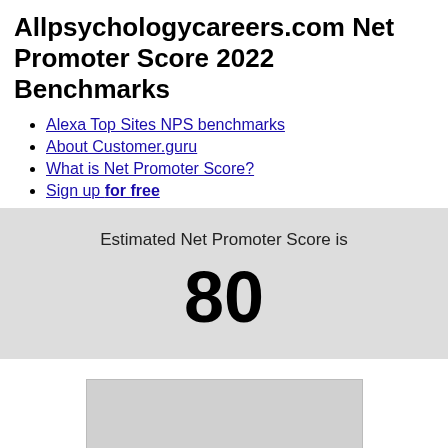Allpsychologycareers.com Net Promoter Score 2022 Benchmarks
Alexa Top Sites NPS benchmarks
About Customer.guru
What is Net Promoter Score?
Sign up for free
Estimated Net Promoter Score is
80
[Figure (other): A gray placeholder box representing a chart area]